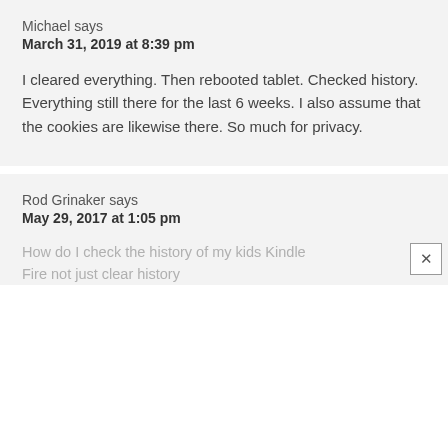Michael says
March 31, 2019 at 8:39 pm
I cleared everything. Then rebooted tablet. Checked history. Everything still there for the last 6 weeks. I also assume that the cookies are likewise there. So much for privacy.
Rod Grinaker says
May 29, 2017 at 1:05 pm
How do I check the history of my kids Kindle Fire not just clear history